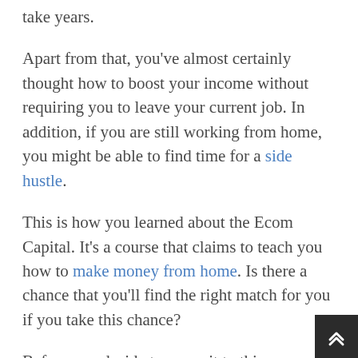take years.
Apart from that, you've almost certainly thought how to boost your income without requiring you to leave your current job. In addition, if you are still working from home, you might be able to find time for a side hustle.
This is how you learned about the Ecom Capital. It's a course that claims to teach you how to make money from home. Is there a chance that you'll find the right match for you if you take this chance?
Before you decide to commit to this program, you should read this Ecom Capital review first. You should check if it is worth